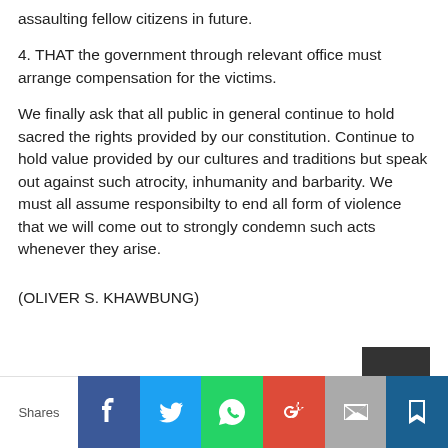assaulting fellow citizens in future.
4. THAT the government through relevant office must arrange compensation for the victims.
We finally ask that all public in general continue to hold sacred the rights provided by our constitution. Continue to hold value provided by our cultures and traditions but speak out against such atrocity, inhumanity and barbarity. We must all assume responsibilty to end all form of violence that we will come out to strongly condemn such acts whenever they arise.
(OLIVER S. KHAWBUNG)
Shares | Facebook | Twitter | WhatsApp | Google+ | Email | Bookmark